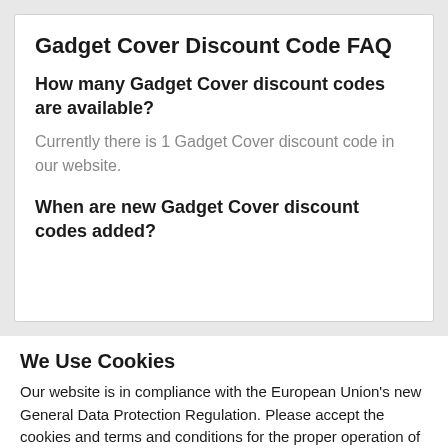Gadget Cover Discount Code FAQ
How many Gadget Cover discount codes are available?
Currently there is 1 Gadget Cover discount code in our website.
When are new Gadget Cover discount codes added?
We Use Cookies
Our website is in compliance with the European Union's new General Data Protection Regulation. Please accept the cookies and terms and conditions for the proper operation of the website
Cookie Settings | Accept All